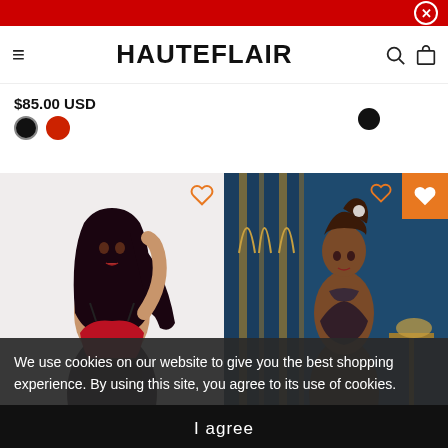HAUTE FLAIR
$85.00 USD
[Figure (illustration): Two circular color swatches: black and red, representing product color options]
[Figure (photo): Left product: woman with dark hair wearing red and black lingerie on light background, iCollection brand. Right product: woman with upswept hair wearing dark lace lingerie in front of blue decorative background, Bracli brand. Orange heart/wishlist icon on top right of right image.]
We use cookies on our website to give you the best shopping experience. By using this site, you agree to its use of cookies.
I agree
iCollection
Bracli